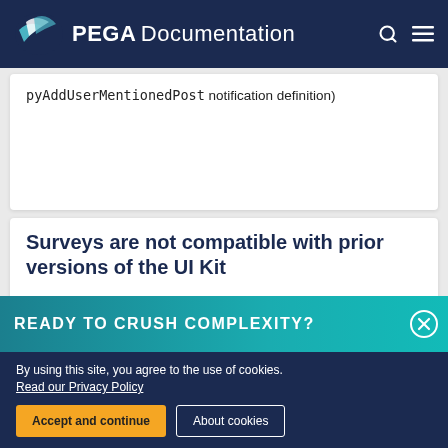PEGA Documentation
pyAddUserMentionedPost notification definition)
Surveys are not compatible with prior versions of the UI Kit
READY TO CRUSH COMPLEXITY?
By using this site, you agree to the use of cookies. Read our Privacy Policy
Accept and continue   About cookies